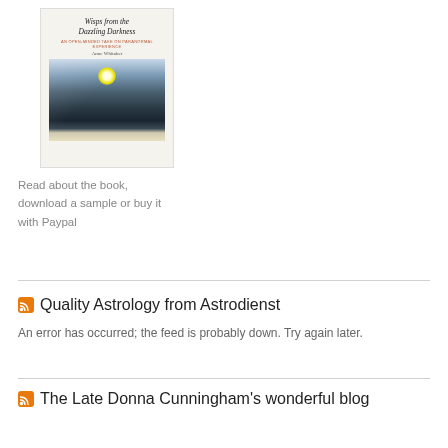[Figure (photo): Book cover of 'Wisps from the Dazzling Darkness' by Anne Whitaker, showing a mountain landscape with bright sun/light over dark hills]
Read about the book, download a sample or buy it with Paypal
Quality Astrology from Astrodienst
An error has occurred; the feed is probably down. Try again later.
The Late Donna Cunningham's wonderful blog